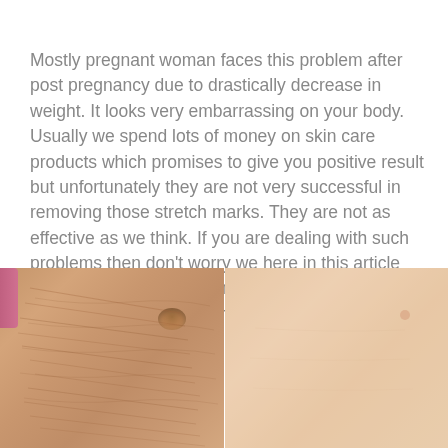Mostly pregnant woman faces this problem after post pregnancy due to drastically decrease in weight. It looks very embarrassing on your body. Usually we spend lots of money on skin care products which promises to give you positive result but unfortunately they are not very successful in removing those stretch marks. They are not as effective as we think. If you are dealing with such problems then don't worry we here in this article share an amazing homemade remedy which will help you eliminate stretch marks in just 2 weeks.
[Figure (photo): Before and after comparison photos showing stretch marks on skin (left panel: skin with visible stretch marks and navel; right panel: smoother, lighter skin after treatment)]